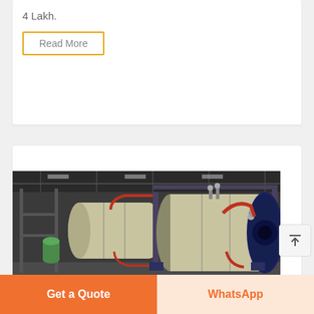4 Lakh.
Read More
[Figure (photo): Industrial boiler units inside a factory/warehouse setting. Large horizontal cylindrical boilers (beige/cream colored) with blue flanges, red piping, and various fittings visible. Factory ceiling structure visible in background.]
Get a Quote
WhatsApp